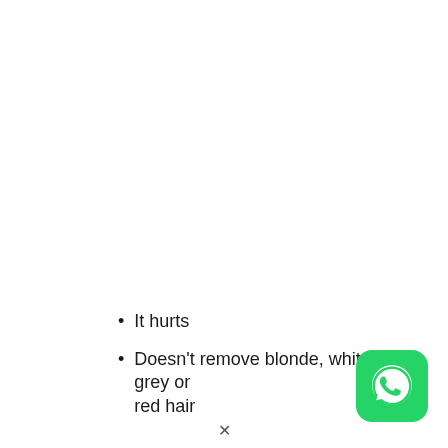It hurts
Doesn't remove blonde, white, grey or red hair
[Figure (logo): WhatsApp green app icon with phone handset symbol]